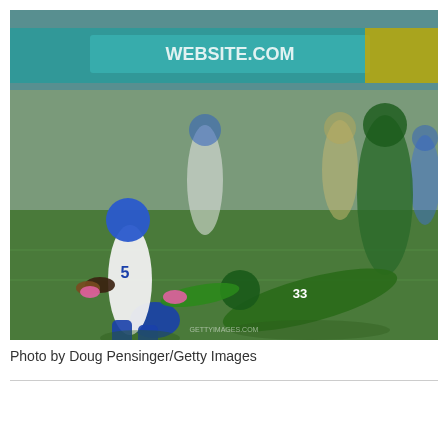[Figure (photo): College football game photo showing a Boise State player wearing jersey number 5 in white uniform with blue helmet running with the ball, being tackled by a Colorado State player wearing number 33 in green uniform. Other players visible in the background including CSU player number 3 and Boise State players. Stadium signage visible in the background. Photo by Doug Pensinger/Getty Images.]
Photo by Doug Pensinger/Getty Images